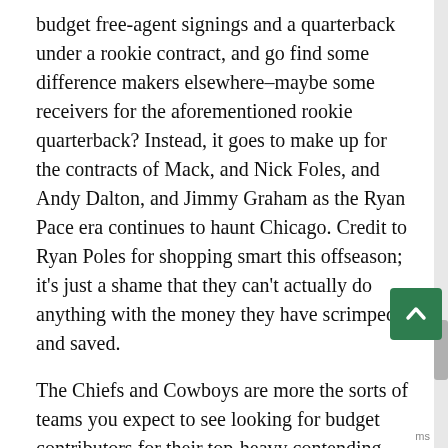budget free-agent signings and a quarterback under a rookie contract, and go find some difference makers elsewhere–maybe some receivers for the aforementioned rookie quarterback? Instead, it goes to make up for the contracts of Mack, and Nick Foles, and Andy Dalton, and Jimmy Graham as the Ryan Pace era continues to haunt Chicago. Credit to Ryan Poles for shopping smart this offseason; it's just a shame that they can't actually do anything with the money they have scrimped and saved.
The Chiefs and Cowboys are more the sorts of teams you expect to see looking for budget contributors for their top-heavy contending teams, and they finish second and third in value added. Both teams get a lot of credit for re-signing their contributors to cheap deals and for taking inexpensive risks on potential projects such as Dante Fowler and JuJu Smith-Schuster. The Chiefs are paying Patrick